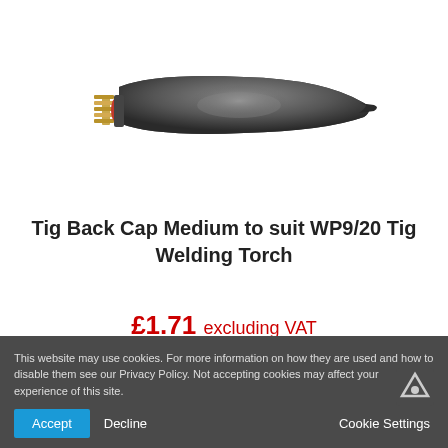[Figure (illustration): A TIG back cap component for WP9/20 Tig Welding Torch — dark grey elongated cone shape with gold threaded fitting and red O-ring at the base.]
Tig Back Cap Medium to suit WP9/20 Tig Welding Torch
£1.71 excluding VAT
This website may use cookies. For more information on how they are used and how to disable them see our Privacy Policy. Not accepting cookies may affect your experience of this site.